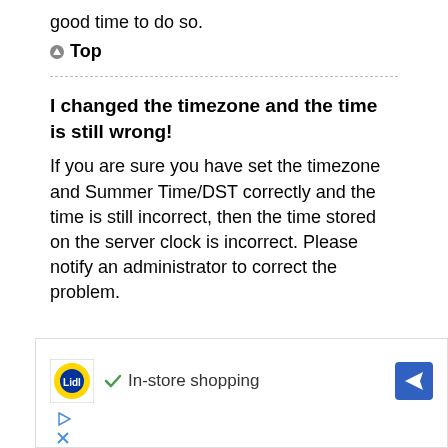good time to do so.
▲ Top
I changed the timezone and the time is still wrong!
If you are sure you have set the timezone and Summer Time/DST correctly and the time is still incorrect, then the time stored on the server clock is incorrect. Please notify an administrator to correct the problem.
[Figure (other): Advertisement banner for Lidl showing store logo, checkmark, 'In-store shopping' text, and navigation icon]